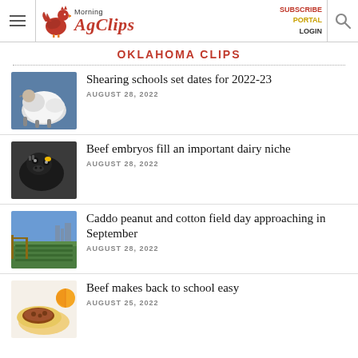Morning AgClips — SUBSCRIBE PORTAL LOGIN
OKLAHOMA CLIPS
Shearing schools set dates for 2022-23 — AUGUST 28, 2022
Beef embryos fill an important dairy niche — AUGUST 28, 2022
Caddo peanut and cotton field day approaching in September — AUGUST 28, 2022
Beef makes back to school easy — AUGUST 25, 2022